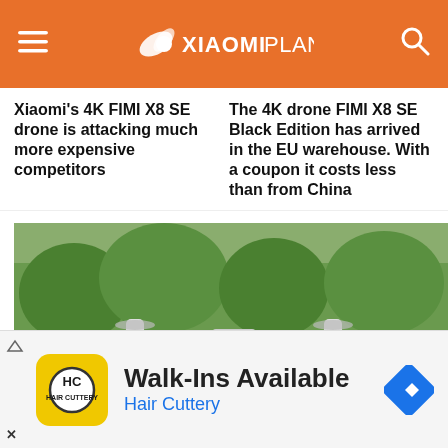XIAOMI PLANET
Xiaomi's 4K FIMI X8 SE drone is attacking much more expensive competitors
The 4K drone FIMI X8 SE Black Edition has arrived in the EU warehouse. With a coupon it costs less than from China
[Figure (photo): Person holding a white quadcopter drone outdoors with trees in background]
DRONY
We are testing Xiaomi Fimi 8K drone! Ask what
Walk-Ins Available
Hair Cuttery